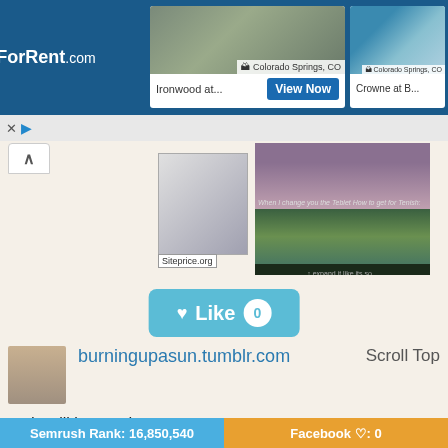[Figure (screenshot): ForRent.com advertisement banner showing two Colorado Springs, CO properties: Ironwood at... and Crowne at B... with a View Now button]
[Figure (screenshot): Siteprice.org thumbnail with a grayscale abstract image]
[Figure (screenshot): Tumblr meme post with two images: a woman and an action scene]
[Figure (screenshot): Like button with count 0 in teal/blue style]
[Figure (photo): Profile avatar thumbnail of a woman with blonde hair]
burningupasun.tumblr.com
Scroll Top
and we'll be good
amy: 31, liberal, feminist, jewitch, libra, hufflepuff, bi. i like books, video games, bethyl, doctor who (rtd era), kitties, and a lot more.
Semrush Rank: 16,850,540
Facebook ♡: 0